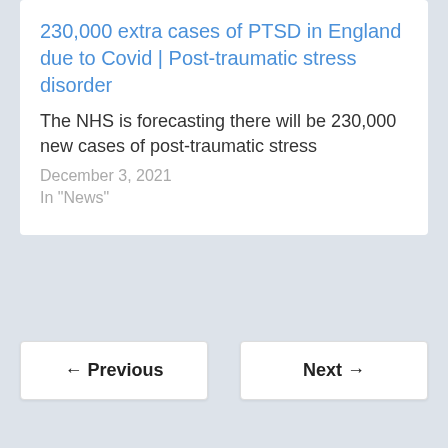230,000 extra cases of PTSD in England due to Covid | Post-traumatic stress disorder
The NHS is forecasting there will be 230,000 new cases of post-traumatic stress
December 3, 2021
In "News"
← Previous
Next →